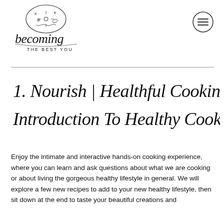[Figure (logo): Becoming The Best You logo — oval illustration with botanical/floral motif above, cursive 'becoming' text below with 'THE BEST YOU' in small caps]
[Figure (other): Hamburger menu icon — circle with three horizontal lines inside]
1. Nourish | Healthful Cooking: Introduction To Healthy Cooking
Enjoy the intimate and interactive hands-on cooking experience, where you can learn and ask questions about what we are cooking or about living the gorgeous healthy lifestyle in general. We will explore a few new recipes to add to your new healthy lifestyle, then sit down at the end to taste your beautiful creations and